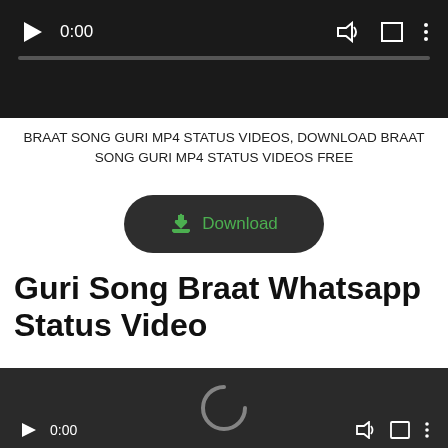[Figure (screenshot): Video player with dark background, play button, time 0:00, volume icon, fullscreen icon, and three-dot menu icon, with a progress bar below]
BRAAT SONG GURI MP4 STATUS VIDEOS, DOWNLOAD BRAAT SONG GURI MP4 STATUS VIDEOS FREE
[Figure (screenshot): Dark rounded-rectangle download button with a green download icon and green text 'Download']
Guri Song Braat Whatsapp Status Video
[Figure (screenshot): Video player with dark background showing a loading spinner (C shape), play button, time 0:00, volume icon, fullscreen icon, and three-dot menu icon at bottom]